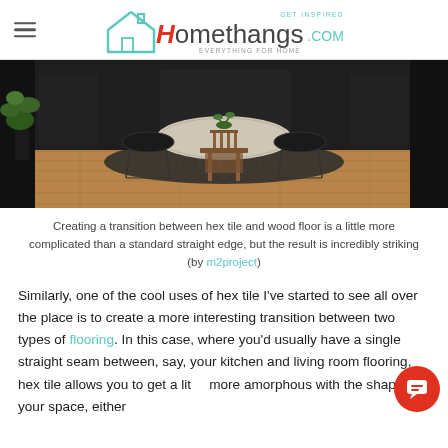Homethangs.com — GET INSPIRED — EVERYTHING FOR HOME
[Figure (photo): Interior dining area with round wooden table, wooden chairs, black metal wire chairs, patterned hex tile floor transitioning to wood floor, dark cabinetry in background, green plant on left.]
Creating a transition between hex tile and wood floor is a little more complicated than a standard straight edge, but the result is incredibly striking (by m2project)
Similarly, one of the cool uses of hex tile I've started to see all over the place is to create a more interesting transition between two types of flooring. In this case, where you'd usually have a single straight seam between, say, your kitchen and living room flooring, hex tile allows you to get a little more amorphous with the shape of your space, either